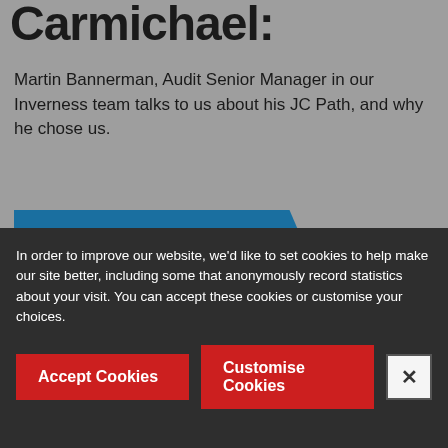Carmichael:
Martin Bannerman, Audit Senior Manager in our Inverness team talks to us about his JC Path, and why he chose us.
[Figure (other): Blue CTA button with gold text 'READ HIS STORY HERE' with angular chevron shape]
In order to improve our website, we'd like to set cookies to help make our site better, including some that anonymously record statistics about your visit. You can accept these cookies or customise your choices.
Accept Cookies
Customise Cookies